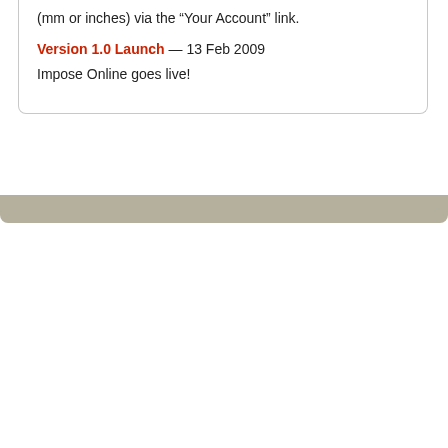(mm or inches) via the “Your Account” link.
Version 1.0 Launch — 13 Feb 2009
Impose Online goes live!